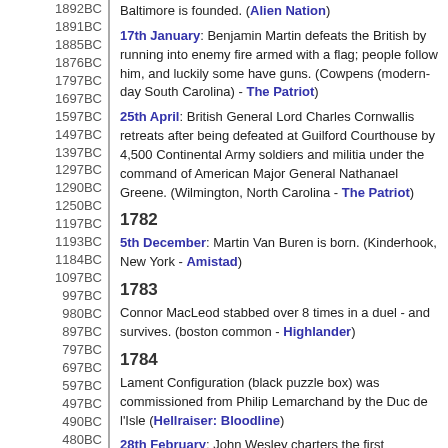1892BC
1891BC
1885BC
1876BC
1797BC
1697BC
1597BC
1497BC
1397BC
1297BC
1290BC
1250BC
1197BC
1193BC
1184BC
1097BC
997BC
980BC
897BC
797BC
697BC
597BC
497BC
490BC
480BC
410BC
397BC
384BC
382BC
323BC
297BC
272BC
197BC
Baltimore is founded. (Alien Nation)
17th January: Benjamin Martin defeats the British by running into enemy fire armed with a flag; people follow him, and luckily some have guns. (Cowpens (modern-day South Carolina) - The Patriot)
25th April: British General Lord Charles Cornwallis retreats after being defeated at Guilford Courthouse by 4,500 Continental Army soldiers and militia under the command of American Major General Nathanael Greene. (Wilmington, North Carolina - The Patriot)
1782
5th December: Martin Van Buren is born. (Kinderhook, New York - Amistad)
1783
Connor MacLeod stabbed over 8 times in a duel - and survives. (boston common - Highlander)
1784
Lament Configuration (black puzzle box) was commissioned from Philip Lemarchand by the Duc de l'Isle (Hellraiser: Bloodline)
28th February: John Wesley charters the first Methodist Church in the United States. (John